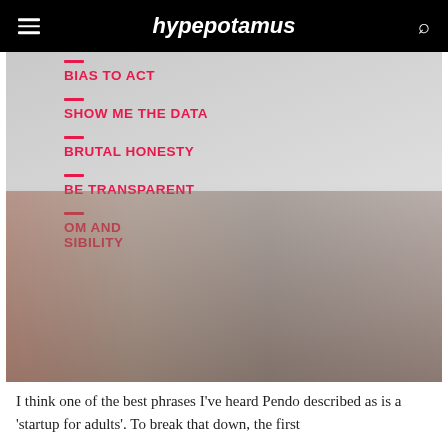hypepotamus
[Figure (photo): Audience of people seated and listening, with a wall behind them showing values written in bold pink/red text: BIAS TO ACT, SHOW ME THE DATA, BRUTAL HONESTY, BE TRANSPARENT, [FREE]DOM AND [RESPON]SIBILITY]
I think one of the best phrases I've heard Pendo described as is a 'startup for adults'. To break that down, the first